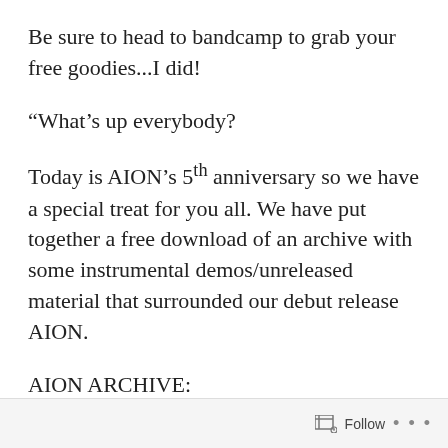Be sure to head to bandcamp to grab your free goodies...I did!
“What’s up everybody?
Today is AION’s 5th anniversary so we have a special treat for you all. We have put together a free download of an archive with some instrumental demos/unreleased material that surrounded our debut release AION.
AION ARCHIVE:
Follow •••